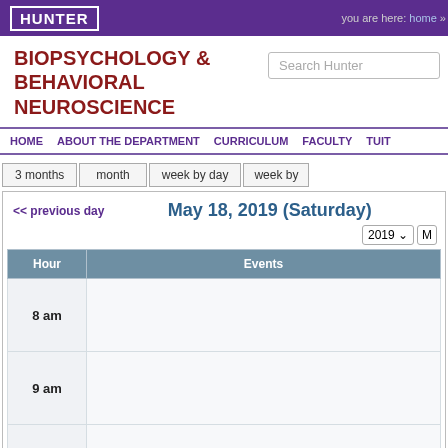HUNTER   you are here: home »
BIOPSYCHOLOGY & BEHAVIORAL NEUROSCIENCE
Search Hunter
HOME   ABOUT THE DEPARTMENT   CURRICULUM   FACULTY   TUIT...
3 months   month   week by day   week by...
<< previous day   May 18, 2019 (Saturday)
2019 ▾  M...
| Hour | Events |
| --- | --- |
| 8 am |  |
| 9 am |  |
| 10 am |  |
| 11 |  |